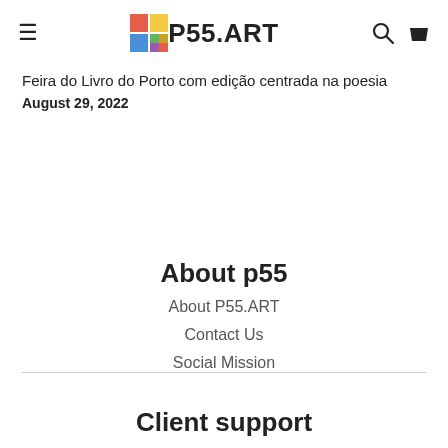≡  P55.ART  🔍 🛍
Feira do Livro do Porto com edição centrada na poesia
August 29, 2022
About p55
About P55.ART
Contact Us
Social Mission
Client support